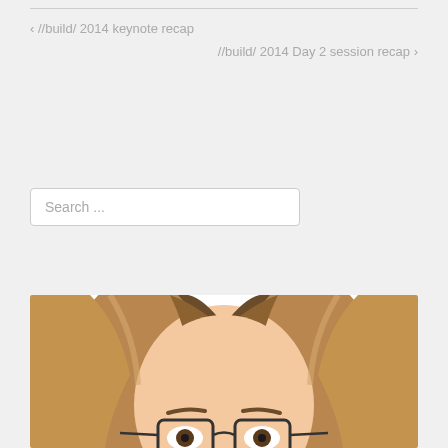< //build/ 2014 keynote recap
//build/ 2014 Day 2 session recap >
Search ...
[Figure (illustration): Cartoon/avatar illustration of a person with long brown hair and glasses, shown from the top of the head down to around the nose area. The illustration is in a simple, flat cartoon style with a white background.]